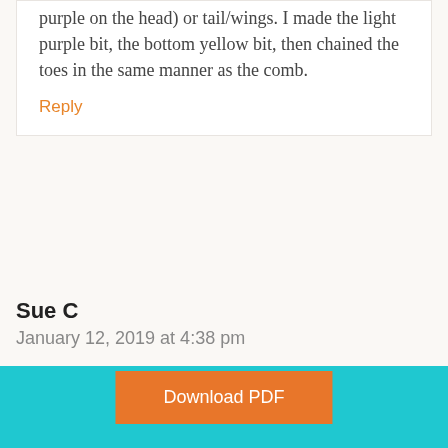purple on the head) or tail/wings. I made the light purple bit, the bottom yellow bit, then chained the toes in the same manner as the comb.
Reply
Sue C
January 12, 2019 at 4:38 pm
Would this pattern work with
Download PDF